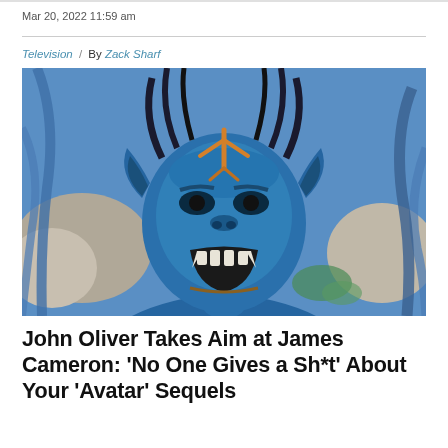Mar 20, 2022 11:59 am
Television / By Zack Sharf
[Figure (photo): A blue-skinned Na'vi character from the Avatar film franchise, roaring with mouth wide open, fanged teeth visible, with orange facial markings. Background shows rocks and alien vegetation.]
John Oliver Takes Aim at James Cameron: ‘No One Gives a Sh*t’ About Your ‘Avatar’ Sequels